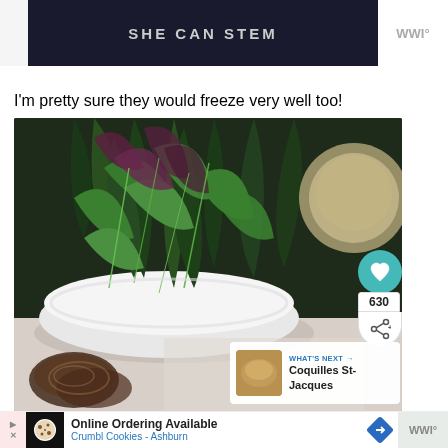[Figure (other): SHE CAN STEM advertisement banner, dark background with text]
I'm pretty sure they would freeze very well too!
[Figure (photo): Food photo showing a bowl of fresh mixed greens/salad leaves including spinach and red lettuce, with a blurred baked good on the right side, and grilled/roasted items at the bottom]
[Figure (other): Online Ordering Available - Crumbl Cookies Ashburn advertisement banner at bottom]